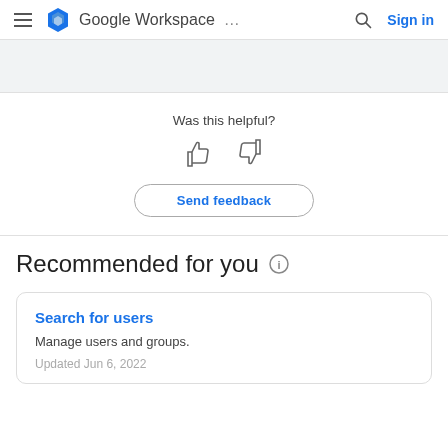Google Workspace ... Sign in
[Figure (screenshot): Gray banner placeholder area]
Was this helpful?
[Figure (other): Thumbs up and thumbs down icons]
Send feedback
Recommended for you
Search for users
Manage users and groups.
Updated Jun 6, 2022